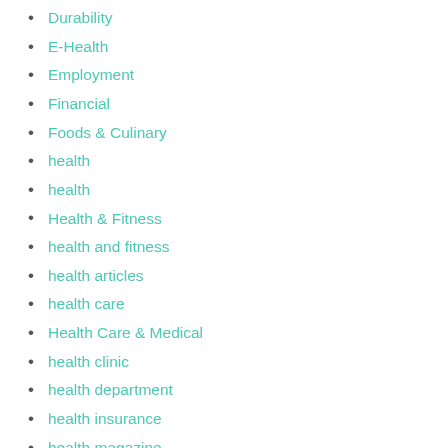Durability
E-Health
Employment
Financial
Foods & Culinary
health
health
Health & Fitness
health and fitness
health articles
health care
Health Care & Medical
health clinic
health department
health insurance
health magazine
health news
Health Style